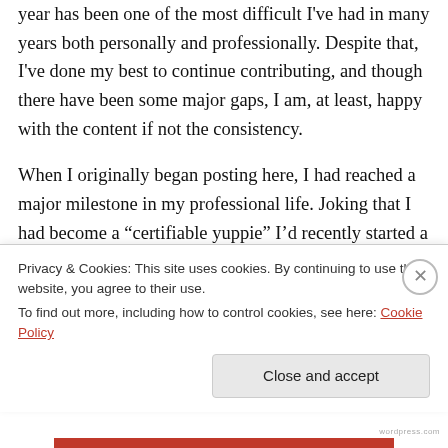year has been one of the most difficult I've had in many years both personally and professionally. Despite that, I've done my best to continue contributing, and though there have been some major gaps, I am, at least, happy with the content if not the consistency.
When I originally began posting here, I had reached a major milestone in my professional life. Joking that I had become a “certifiable yuppie” I’d recently started a job that put me firmly in the “middle-class”. I purchased a newer model Prius and carried the latest iPhone, wore button-
Privacy & Cookies: This site uses cookies. By continuing to use this website, you agree to their use.
To find out more, including how to control cookies, see here: Cookie Policy
Close and accept